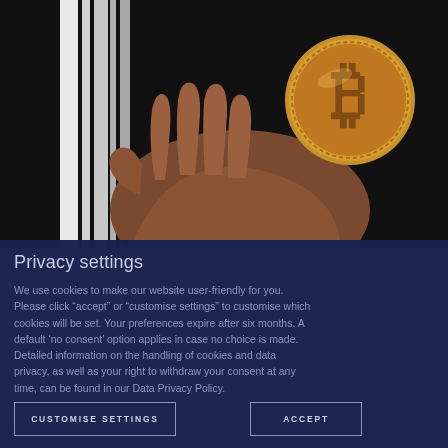[Figure (photo): A hand holding a golden Bitcoin coin against a dark background — cryptocurrency investment photo]
Privacy settings
We use cookies to make our website user-friendly for you. Please click “accept” or “customise settings” to customise which cookies will be set. Your preferences expire after six months. A default ‘no consent’ option applies in case no choice is made. Detailed information on the handling of cookies and data privacy, as well as your right to withdraw your consent at any time, can be found in our Data Privacy Policy.
CUSTOMISE SETTINGS
ACCEPT